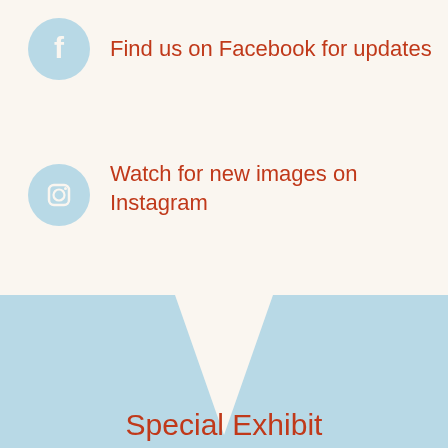Find us on Facebook for updates
Watch for new images on Instagram
[Figure (illustration): Light blue V-shaped chevron pointing downward on a cream background, forming a decorative band divider]
Special Exhibit